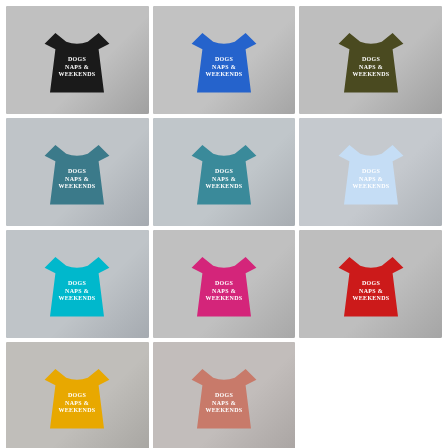[Figure (photo): Grid of 11 t-shirts in various colors (black, royal blue, olive, steel blue, teal, light blue, cyan, pink/magenta, red, yellow, peach/mauve) each with text 'DOGS NAPS & WEEKENDS' printed on the front, displayed as product photos with accessories in the background.]